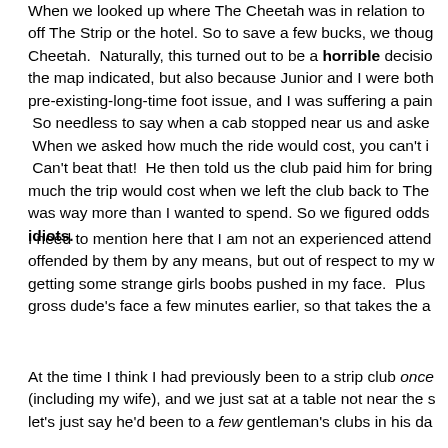When we looked up where The Cheetah was in relation to off The Strip or the hotel. So to save a few bucks, we thought Cheetah. Naturally, this turned out to be a horrible decision the map indicated, but also because Junior and I were both pre-existing-long-time foot issue, and I was suffering a pain So needless to say when a cab stopped near us and asked When we asked how much the ride would cost, you can't i Can't beat that! He then told us the club paid him for bring much the trip would cost when we left the club back to The was way more than I wanted to spend. So we figured odds idiots.
I need to mention here that I am not an experienced attend offended by them by any means, but out of respect to my w getting some strange girls boobs pushed in my face. Plus gross dude's face a few minutes earlier, so that takes the a
At the time I think I had previously been to a strip club once (including my wife), and we just sat at a table not near the s let's just say he'd been to a few gentleman's clubs in his da